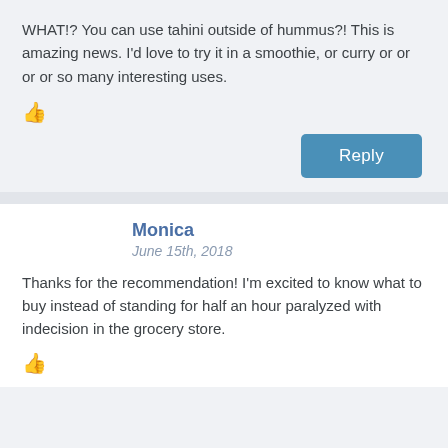WHAT!? You can use tahini outside of hummus?! This is amazing news. I'd love to try it in a smoothie, or curry or or or or so many interesting uses.
[Figure (other): Thumbs up icon]
[Figure (other): Reply button]
Monica
June 15th, 2018
Thanks for the recommendation! I'm excited to know what to buy instead of standing for half an hour paralyzed with indecision in the grocery store.
[Figure (other): Thumbs up icon]